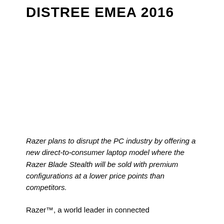DISTREE EMEA 2016
Razer plans to disrupt the PC industry by offering a new direct-to-consumer laptop model where the Razer Blade Stealth will be sold with premium configurations at a lower price points than competitors.
Razer™, a world leader in connected